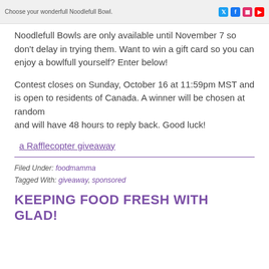[Figure (screenshot): Banner image with text 'Choose your wonderfull Noodlefull Bowl.' and social media icons for Twitter, Facebook, Instagram, and YouTube on the right side.]
Noodlefull Bowls are only available until November 7 so don't delay in trying them. Want to win a gift card so you can enjoy a bowlfull yourself? Enter below!
Contest closes on Sunday, October 16 at 11:59pm MST and is open to residents of Canada. A winner will be chosen at random and will have 48 hours to reply back. Good luck!
a Rafflecopter giveaway
Filed Under: foodmamma
Tagged With: giveaway, sponsored
KEEPING FOOD FRESH WITH GLAD!